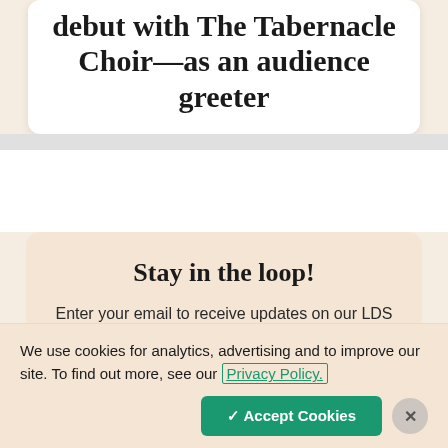debut with The Tabernacle Choir—as an audience greeter
Stay in the loop!
Enter your email to receive updates on our LDS Living content
We use cookies for analytics, advertising and to improve our site. To find out more, see our Privacy Policy.